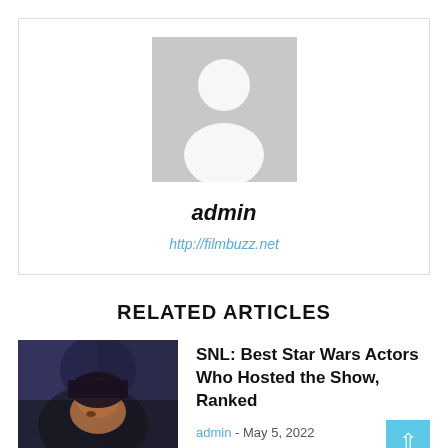[Figure (illustration): Gray placeholder avatar silhouette (person icon) on a light gray background square]
admin
http://filmbuzz.net
RELATED ARTICLES
[Figure (photo): Thumbnail photo of a person with dark hair, partially visible face, in dark blue lighting]
SNL: Best Star Wars Actors Who Hosted the Show, Ranked
admin - May 5, 2022